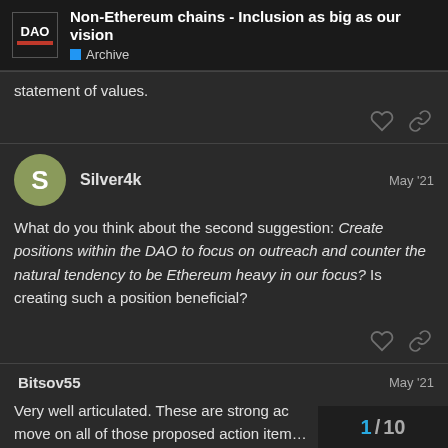Non-Ethereum chains - Inclusion as big as our vision | Archive
statement of values.
Silver4k  May '21
What do you think about the second suggestion: Create positions within the DAO to focus on outreach and counter the natural tendency to be Ethereum heavy in our focus? Is creating such a position beneficial?
Bitsov55  May '21
Very well articulated. These are strong ac… move on all of those proposed action item…
1 / 10